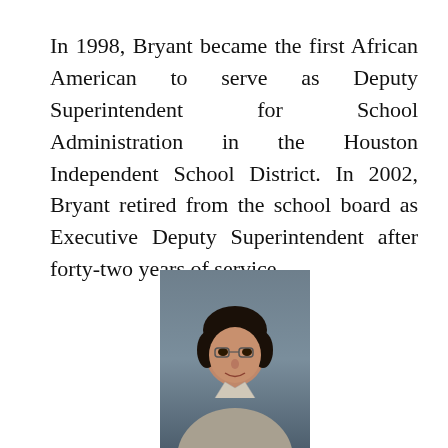In 1998, Bryant became the first African American to serve as Deputy Superintendent for School Administration in the Houston Independent School District. In 2002, Bryant retired from the school board as Executive Deputy Superintendent after forty-two years of service.
[Figure (photo): Portrait photograph of Bryant, an African American woman with short dark hair, wearing glasses and a light gray blazer, photographed against a dark blue-gray background.]